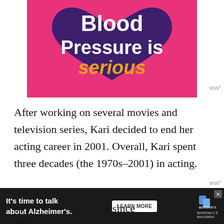[Figure (illustration): Pink background with a dark purple heart shape. Bold white and gold text reads 'Blood Pressure is serious']
After working on several movies and television series, Kari decided to end her acting career in 2001. Overall, Kari spent three decades (the 1970s–2001) in acting.
Besides her acting career, Kari is also a public speaker. The actress has been actively doing public speaking since 19...
[Figure (other): Advertisement banner: 'It's time to talk about Alzheimer's.' with a Learn More button and Alzheimer's Association logo on dark background]